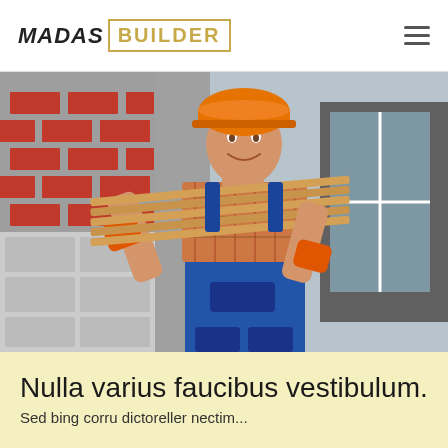MADAS BUILDER
[Figure (photo): A construction worker wearing an orange hard hat and orange gloves, carrying wooden planks on his shoulder, dressed in a plaid shirt and blue overalls, standing in front of a brick and concrete wall construction site.]
Nulla varius faucibus vestibulum.
Sed bing corru dictoreller nectim...